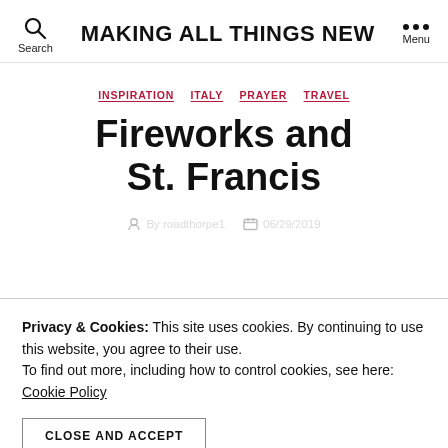MAKING ALL THINGS NEW
INSPIRATION  ITALY  PRAYER  TRAVEL
Fireworks and St. Francis
Privacy & Cookies: This site uses cookies. By continuing to use this website, you agree to their use. To find out more, including how to control cookies, see here: Cookie Policy
CLOSE AND ACCEPT